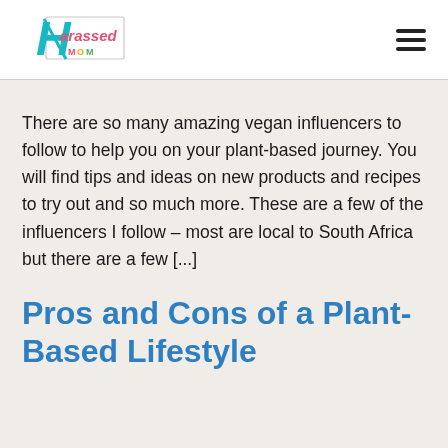Harassed Mom
There are so many amazing vegan influencers to follow to help you on your plant-based journey. You will find tips and ideas on new products and recipes to try out and so much more. These are a few of the influencers I follow – most are local to South Africa but there are a few [...]
Pros and Cons of a Plant-Based Lifestyle